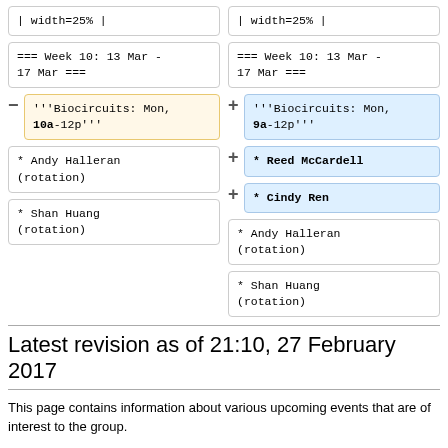| width=25% |
| width=25% |
=== Week 10: 13 Mar - 17 Mar ===
=== Week 10: 13 Mar - 17 Mar ===
'''Biocircuits: Mon, 10a-12p'''
'''Biocircuits: Mon, 9a-12p'''
* Reed McCardell
* Cindy Ren
* Andy Halleran (rotation)
* Andy Halleran (rotation)
* Shan Huang (rotation)
* Shan Huang (rotation)
Latest revision as of 21:10, 27 February 2017
This page contains information about various upcoming events that are of interest to the group.
Richard's
Group Schedule,